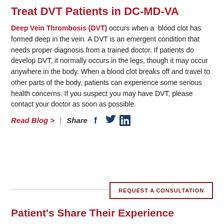Treat DVT Patients in DC-MD-VA
Deep Vein Thrombosis (DVT) occurs when a blood clot has formed deep in the vein. A DVT is an emergent condition that needs proper diagnosis from a trained doctor. If patients do develop DVT, it normally occurs in the legs, though it may occur anywhere in the body. When a blood clot breaks off and travel to other parts of the body, patients can experience some serious health concerns. If you suspect you may have DVT, please contact your doctor as soon as possible.
Read Blog > | Share
REQUEST A CONSULTATION
Patient's Share Their Experience